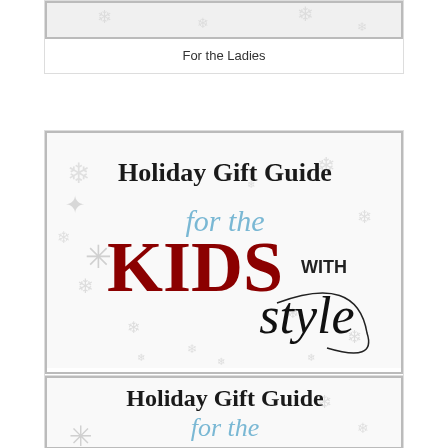[Figure (illustration): Top of a card showing partial 'For the Ladies' holiday gift guide image, cropped at top]
For the Ladies
[Figure (illustration): Holiday Gift Guide card for Kids with Style - Mommy Is Coo Coo. White snowflake background with text 'Holiday Gift Guide' in serif font, cursive 'for the' in light blue, large bold red 'KIDS' with 'WITH' in black, and cursive 'style' in black script.]
For Kids with Style - Mommy Is Coo Coo
[Figure (illustration): Partial Holiday Gift Guide card showing 'Holiday Gift Guide' text at top, cursive 'for the' below, and large bold red 'DO-IT' text partially visible, with snowflake background. Card is cut off at bottom of page.]